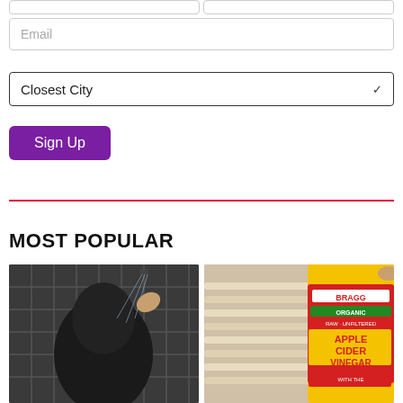[Figure (other): Two partially visible form input fields side by side at the top of the page]
[Figure (other): Email input field with placeholder text 'Email']
[Figure (other): Closest City dropdown selector with chevron icon]
[Figure (other): Purple 'Sign Up' button]
[Figure (other): Red horizontal divider line]
MOST POPULAR
[Figure (photo): Person washing dark hair in a shower with dark tile background]
[Figure (photo): Bragg Organic Raw Unfiltered Apple Cider Vinegar bottle with measuring tape]